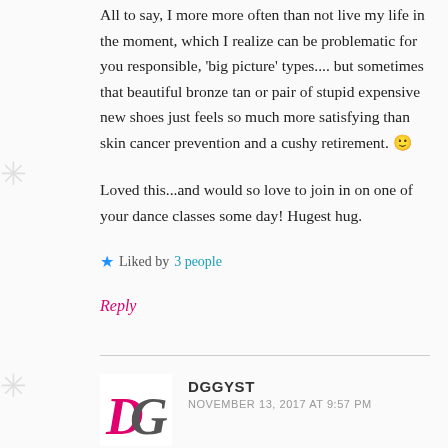All to say, I more more often than not live my life in the moment, which I realize can be problematic for you responsible, 'big picture' types.... but sometimes that beautiful bronze tan or pair of stupid expensive new shoes just feels so much more satisfying than skin cancer prevention and a cushy retirement. 🙂
Loved this...and would so love to join in on one of your dance classes some day! Hugest hug.
★ Liked by 3 people
Reply
DGGYST
NOVEMBER 13, 2017 AT 9:57 PM